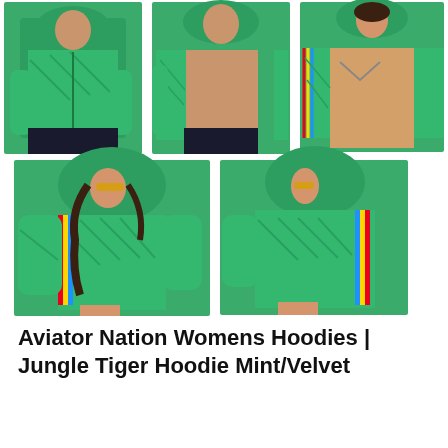[Figure (photo): Five product photos of green jungle tiger print hoodies from Aviator Nation. Top row: three photos showing a male model wearing a green zip-up hoodie closed, a male model wearing it open over bare chest, and a female model wearing it open over a bikini. Bottom row: two photos showing a female model wearing the hoodie from the front-side angle and from the back-side angle, both showing a colorful stripe detail on the sleeve.]
Aviator Nation Womens Hoodies | Jungle Tiger Hoodie Mint/Velvet